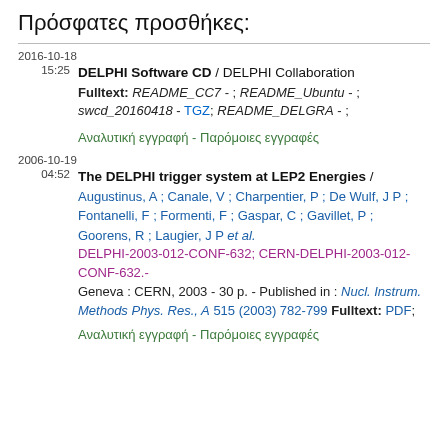Πρόσφατες προσθήκες:
2016-10-18
15:25 DELPHI Software CD / DELPHI Collaboration
Fulltext: README_CC7 - ; README_Ubuntu - ; swcd_20160418 - TGZ; README_DELGRA - ;
Αναλυτική εγγραφή - Παρόμοιες εγγραφές
2006-10-19
04:52 The DELPHI trigger system at LEP2 Energies /
Augustinus, A ; Canale, V ; Charpentier, P ; De Wulf, J P ; Fontanelli, F ; Formenti, F ; Gaspar, C ; Gavillet, P ; Goorens, R ; Laugier, J P et al.
DELPHI-2003-012-CONF-632; CERN-DELPHI-2003-012-CONF-632.- Geneva : CERN, 2003 - 30 p. - Published in : Nucl. Instrum. Methods Phys. Res., A 515 (2003) 782-799 Fulltext: PDF;
Αναλυτική εγγραφή - Παρόμοιες εγγραφές